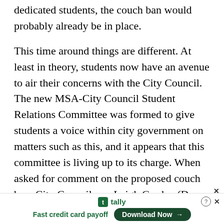dedicated students, the couch ban would probably already be in place.
This time around things are different. At least in theory, students now have an avenue to air their concerns with the City Council. The new MSA-City Council Student Relations Committee was formed to give students a voice within city government on matters such as this, and it appears that this committee is living up to its charge. When asked for comment on the proposed couch ban, City Councilman Leigh Greden (D-Ward 3) said that the matter was being directly turned over to the new student relations committee.
[Figure (other): Advertisement banner for Tally app — 'Fast credit card payoff' with a 'Download Now' button]